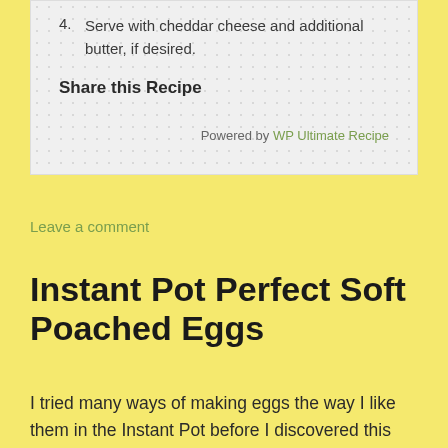4. Serve with cheddar cheese and additional butter, if desired.
Share this Recipe
Powered by WP Ultimate Recipe
Leave a comment
Instant Pot Perfect Soft Poached Eggs
I tried many ways of making eggs the way I like them in the Instant Pot before I discovered this method. I like them with a runny yolk, but a